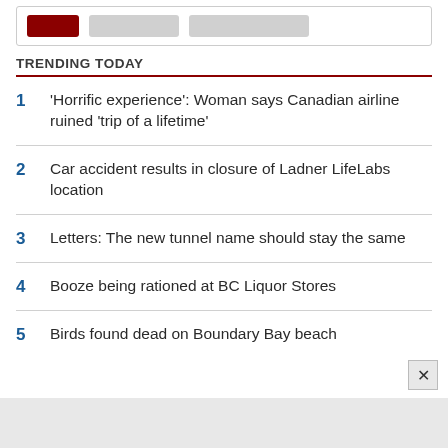[Figure (screenshot): Top bar with a dark red button and two gray placeholder buttons]
TRENDING TODAY
1 'Horrific experience': Woman says Canadian airline ruined 'trip of a lifetime'
2 Car accident results in closure of Ladner LifeLabs location
3 Letters: The new tunnel name should stay the same
4 Booze being rationed at BC Liquor Stores
5 Birds found dead on Boundary Bay beach